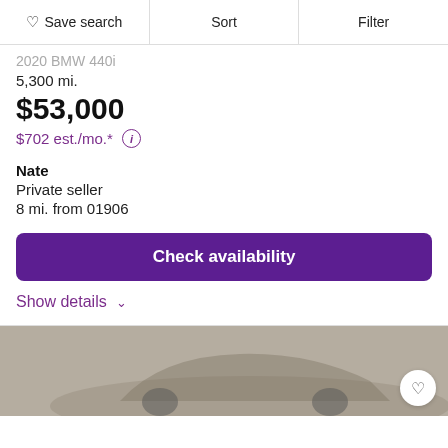Save search   Sort   Filter
2020 BMW 440i
5,300 mi.
$53,000
$702 est./mo.* ⓘ
Nate
Private seller
8 mi. from 01906
Check availability
Show details
[Figure (photo): Photo of a car, partially visible at the bottom of the page, with a heart/save button overlay in the bottom right.]